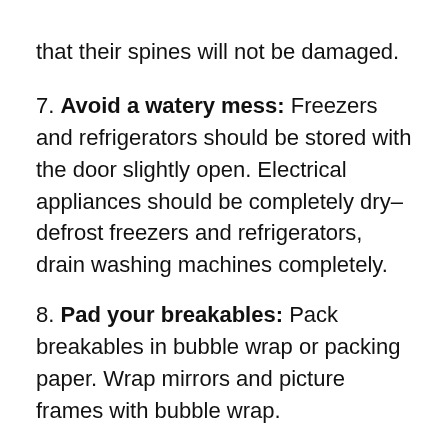that their spines will not be damaged.
7. Avoid a watery mess: Freezers and refrigerators should be stored with the door slightly open. Electrical appliances should be completely dry–defrost freezers and refrigerators, drain washing machines completely.
8. Pad your breakables: Pack breakables in bubble wrap or packing paper. Wrap mirrors and picture frames with bubble wrap.
9. Use wardrobe boxes: When packing clothes we recommend that you make use of clothes or wardrobe boxes where you can.